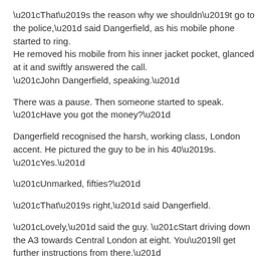“That’s the reason why we shouldn’t go to the police,” said Dangerfield, as his mobile phone started to ring. He removed his mobile from his inner jacket pocket, glanced at it and swiftly answered the call. “John Dangerfield, speaking.”
There was a pause. Then someone started to speak. “Have you got the money?”
Dangerfield recognised the harsh, working class, London accent. He pictured the guy to be in his 40’s. “Yes.”
“Unmarked, fifties?”
“That’s right,” said Dangerfield.
“Lovely,” said the guy. “Start driving down the A3 towards Central London at eight. You’ll get further instructions from there.”
“I want to speak to my son,” said Dangerfield, as Suzi stared